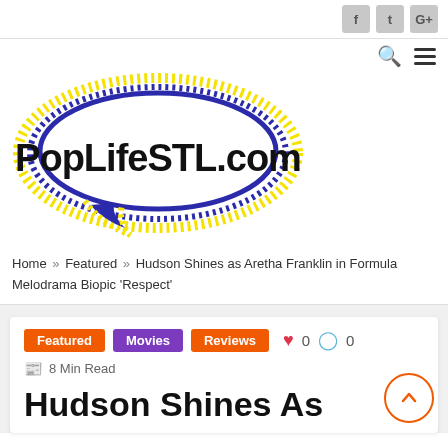Social icons: f, t, G+; search and hamburger menu icons
[Figure (logo): PopLifeSTL.com logo — speech bubble shape with blue/yellow dotted border, bold black text 'PopLifeSTL.com' inside]
Home » Featured » Hudson Shines as Aretha Franklin in Formula Melodrama Biopic 'Respect'
Featured  Movies  Reviews  ♥ 0  💬 0  8 Min Read
Hudson Shines As